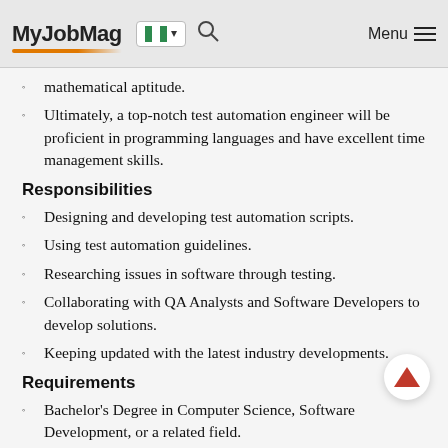MyJobMag [Nigeria flag] Menu
mathematical aptitude.
Ultimately, a top-notch test automation engineer will be proficient in programming languages and have excellent time management skills.
Responsibilities
Designing and developing test automation scripts.
Using test automation guidelines.
Researching issues in software through testing.
Collaborating with QA Analysts and Software Developers to develop solutions.
Keeping updated with the latest industry developments.
Requirements
Bachelor's Degree in Computer Science, Software Development, or a related field.